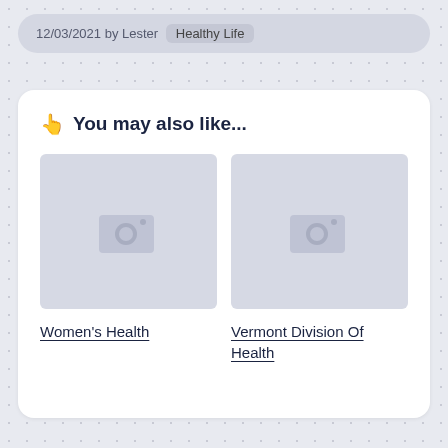12/03/2021 by Lester  Healthy Life
👍 You may also like...
[Figure (photo): Placeholder image thumbnail for Women's Health article]
Women's Health
[Figure (photo): Placeholder image thumbnail for Vermont Division Of Health article]
Vermont Division Of Health